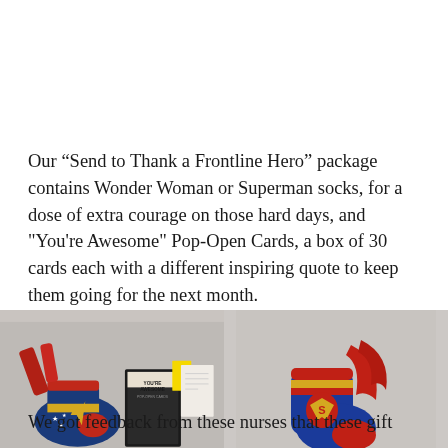Our “Send to Thank a Frontline Hero” package contains Wonder Woman or Superman socks, for a dose of extra courage on those hard days, and "You're Awesome" Pop-Open Cards, a box of 30 cards each with a different inspiring quote to keep them going for the next month.
[Figure (photo): Two-panel product photo: left panel shows Wonder Woman themed socks (red, blue, gold star pattern) alongside a 'You're Awesome Pop-Open Cards' box product; right panel shows Superman themed socks (blue and red with Superman S logo).]
We got feedback from these nurses that these gift